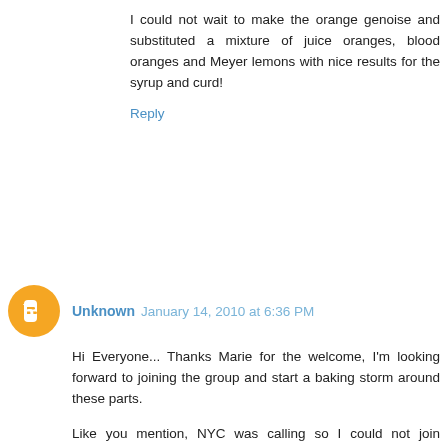I could not wait to make the orange genoise and substituted a mixture of juice oranges, blood oranges and Meyer lemons with nice results for the syrup and curd!
Reply
Unknown  January 14, 2010 at 6:36 PM
Hi Everyone... Thanks Marie for the welcome, I'm looking forward to joining the group and start a baking storm around these parts.
Like you mention, NYC was calling so I could not join everyone this past weekend baking the cake of the week, but after reading everyone's post about, I'm going bookmark it for later time.
I'm looking forward to the Tres Leche cake.. This is actually a signature cake for me. I been baking a different version for over 20 years (was taught by the mother of one of my best friends in Junior High, they were from Nicaragua and this cake is BIG over there) but after reading Rose's recipe